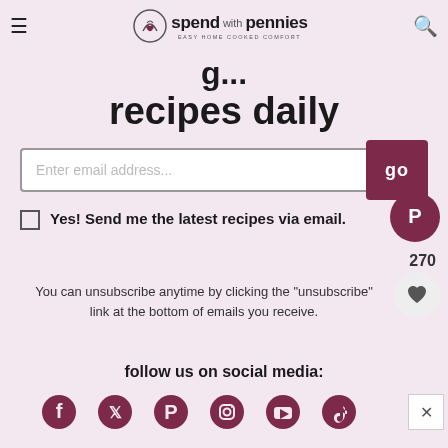spend with pennies — EASY HOME COOKED COMFORT
recipes daily
Enter email address...
Yes! Send me the latest recipes via email.
You can unsubscribe anytime by clicking the "unsubscribe" link at the bottom of emails you receive.
follow us on social media:
[Figure (infographic): Social media icons: Facebook, Twitter, Pinterest, Instagram, YouTube, TikTok]